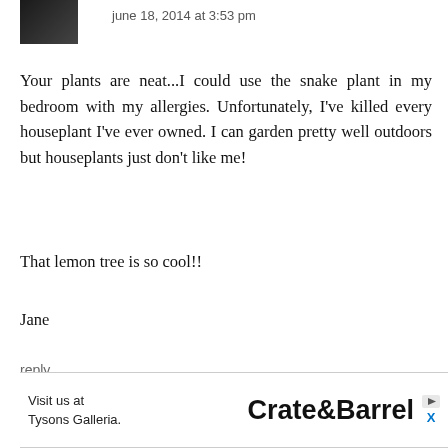june 18, 2014 at 3:53 pm
Your plants are neat...I could use the snake plant in my bedroom with my allergies. Unfortunately, I've killed every houseplant I've ever owned. I can garden pretty well outdoors but houseplants just don't like me!
That lemon tree is so cool!!
Jane
reply
▾ replies
[Figure (photo): Small avatar photo of a person (partially visible at top left)]
[Figure (photo): Avatar photo of a person for SImple and Serene Living reply]
SImple and Serene Living
june 18, 2014 at 5:27 pm
[Figure (other): Crate&Barrel advertisement banner: Visit us at Tysons Galleria.]